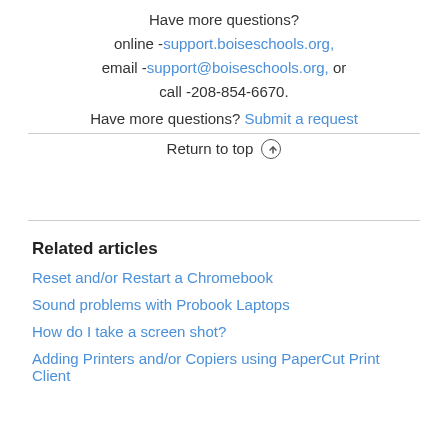Have more questions?
online -support.boiseschools.org,
email -support@boiseschools.org, or
call -208-854-6670.
Have more questions? Submit a request
Return to top ↑
Related articles
Reset and/or Restart a Chromebook
Sound problems with Probook Laptops
How do I take a screen shot?
Adding Printers and/or Copiers using PaperCut Print Client